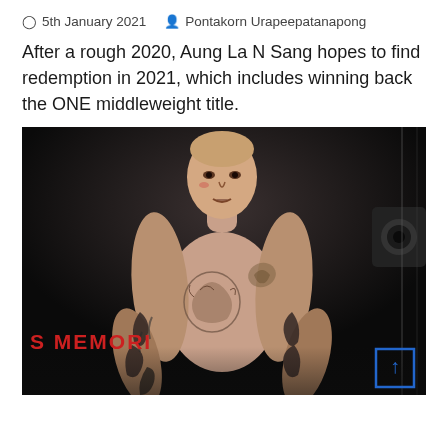5th January 2021  Pontakorn Urapeepatanapong
After a rough 2020, Aung La N Sang hopes to find redemption in 2021, which includes winning back the ONE middleweight title.
[Figure (photo): A tattooed male MMA fighter standing shirtless in a cage, with text 'S MEMORIA' visible in the background and a scroll-to-top button overlay.]